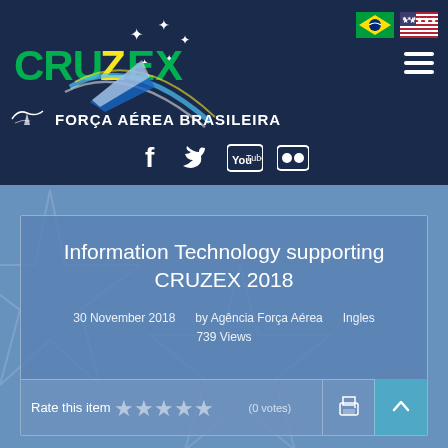[Figure (logo): CRUZEX logo with stylized aircraft and stars on dark navy background]
[Figure (logo): Brazilian flag icon]
[Figure (logo): US flag icon]
FORÇA AÉREA BRASILEIRA
[Figure (infographic): Social media icons: Facebook, Twitter, YouTube, Flickr]
Information Technology supporting CRUZEX 2018
30 November 2018 by Agência Força Aérea Ingles
739 Views
Rate this item (0 votes)